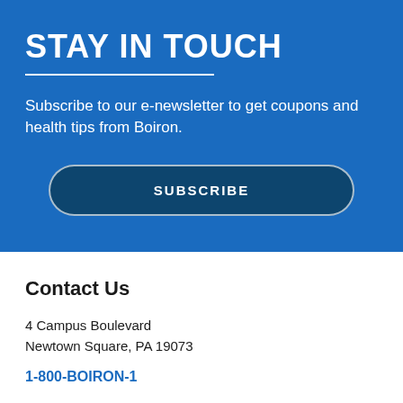STAY IN TOUCH
Subscribe to our e-newsletter to get coupons and health tips from Boiron.
SUBSCRIBE
Contact Us
4 Campus Boulevard
Newtown Square, PA 19073
1-800-BOIRON-1